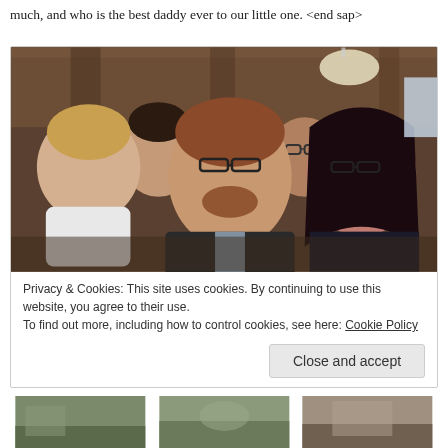much, and who is the best daddy ever to our little one.  <end sap>
[Figure (photo): Group photo of a man holding a baby/toddler dressed in white, a woman with dark hair on the right, and two other people making funny faces in the background, taken inside a venue with wooden beams and a chandelier.]
Privacy & Cookies: This site uses cookies. By continuing to use this website, you agree to their use.
To find out more, including how to control cookies, see here: Cookie Policy
[Figure (photo): Thumbnail image 1 - outdoor scene]
[Figure (photo): Thumbnail image 2 - outdoor scene]
[Figure (photo): Thumbnail image 3 - outdoor scene]